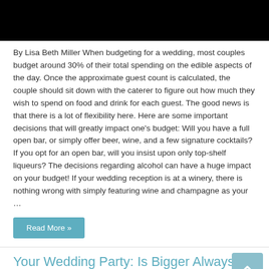[Figure (photo): Black image banner at top of page]
By Lisa Beth Miller When budgeting for a wedding, most couples budget around 30% of their total spending on the edible aspects of the day. Once the approximate guest count is calculated, the couple should sit down with the caterer to figure out how much they wish to spend on food and drink for each guest. The good news is that there is a lot of flexibility here. Here are some important decisions that will greatly impact one's budget: Will you have a full open bar, or simply offer beer, wine, and a few signature cocktails? If you opt for an open bar, will you insist upon only top-shelf liqueurs? The decisions regarding alcohol can have a huge impact on your budget! If your wedding reception is at a winery, there is nothing wrong with simply featuring wine and champagne as your …
Read More »
Your Wedding Party: Is Bigger Always Better?